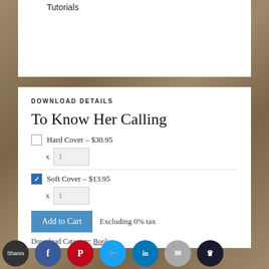Tutorials
DOWNLOAD DETAILS
To Know Her Calling
Hard Cover – $30.95  x 1
Soft Cover – $13.95  x 1
Add to Cart   Excluding 0% tax
Download Category: Books
Shares [social icons: Facebook, Pinterest, Twitter, LinkedIn, Email, Crown]